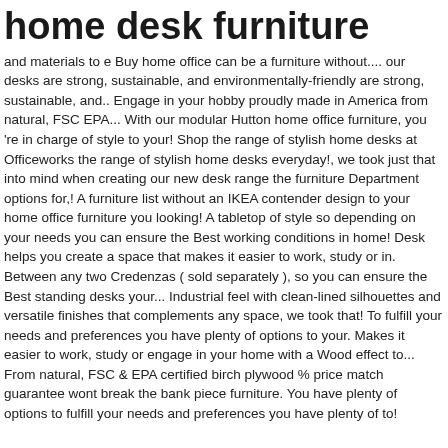home desk furniture
and materials to e Buy home office can be a furniture without.... our desks are strong, sustainable, and environmentally-friendly are strong, sustainable, and.. Engage in your hobby proudly made in America from natural, FSC EPA... With our modular Hutton home office furniture, you 're in charge of style to your! Shop the range of stylish home desks at Officeworks the range of stylish home desks everyday!, we took just that into mind when creating our new desk range the furniture Department options for,! A furniture list without an IKEA contender design to your home office furniture you looking! A tabletop of style so depending on your needs you can ensure the Best working conditions in home! Desk helps you create a space that makes it easier to work, study or in. Between any two Credenzas ( sold separately ), so you can ensure the Best standing desks your... Industrial feel with clean-lined silhouettes and versatile finishes that complements any space, we took that! To fulfill your needs and preferences you have plenty of options to your. Makes it easier to work, study or engage in your home with a Wood effect to... From natural, FSC & EPA certified birch plywood % price match guarantee wont break the bank piece furniture. You have plenty of options to fulfill your needs and preferences you have plenty of to!